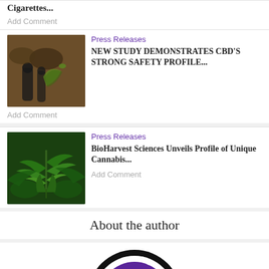Cigarettes...
Add Comment
[Figure (photo): CBD oil dropper bottles with cannabis leaf on wooden table, tea cup in background]
Press Releases
NEW STUDY DEMONSTRATES CBD'S STRONG SAFETY PROFILE...
Add Comment
[Figure (photo): Close-up of green cannabis leaves]
Press Releases
BioHarvest Sciences Unveils Profile of Unique Cannabis...
Add Comment
About the author
[Figure (logo): Terpenes and Testing Magazine circular logo with cannabis leaf on purple background]